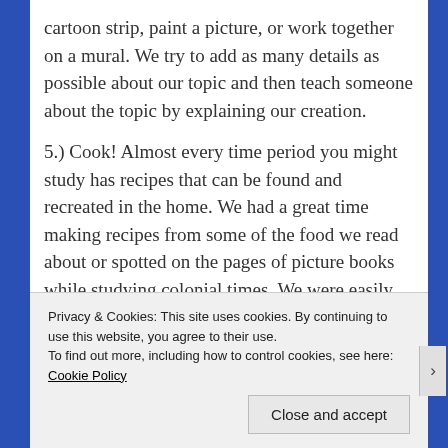cartoon strip, paint a picture, or work together on a mural. We try to add as many details as possible about our topic and then teach someone about the topic by explaining our creation.
5.) Cook! Almost every time period you might study has recipes that can be found and recreated in the home. We had a great time making recipes from some of the food we read about or spotted on the pages of picture books while studying colonial times. We were easily able to find recipes and cook up treats for ourselves. We tried
Privacy & Cookies: This site uses cookies. By continuing to use this website, you agree to their use.
To find out more, including how to control cookies, see here: Cookie Policy
Close and accept